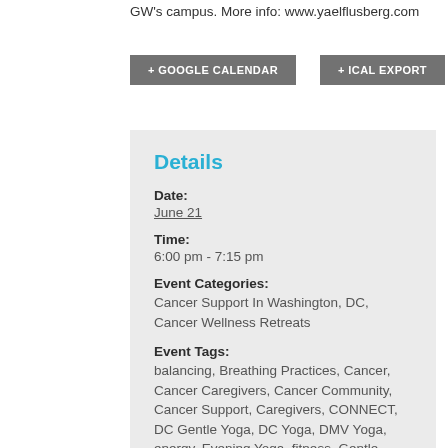GW's campus. More info: www.yaelflusberg.com
+ GOOGLE CALENDAR
+ ICAL EXPORT
Details
Date:
June 21
Time:
6:00 pm - 7:15 pm
Event Categories:
Cancer Support In Washington, DC, Cancer Wellness Retreats
Event Tags:
balancing, Breathing Practices, Cancer, Cancer Caregivers, Cancer Community, Cancer Support, Caregivers, CONNECT, DC Gentle Yoga, DC Yoga, DMV Yoga, energy, Evening Yoga, fitness, Gentle Yoga, Healing Arts, Health, Life with Cancer, Mind-Body Connection, Mindfulness, Movement, Nurturing